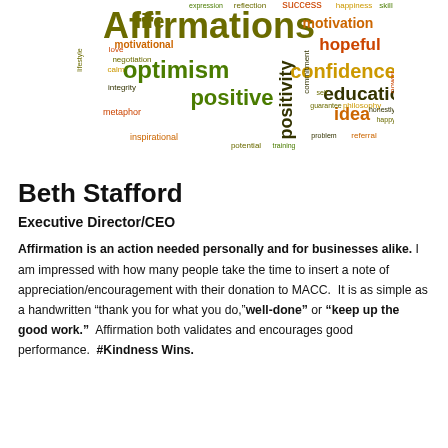[Figure (infographic): Word cloud with affirmations-related words in various colors (olive, gold, orange, dark red, green). Prominent words include 'Affirmations', 'optimism', 'positive', 'positivity', 'confidence', 'motivation', 'hopeful', 'education', 'idea', 'life', 'motivational', and many smaller words.]
Beth Stafford
Executive Director/CEO
Affirmation is an action needed personally and for businesses alike. I am impressed with how many people take the time to insert a note of appreciation/encouragement with their donation to MACC.  It is as simple as a handwritten “thank you for what you do,”well-done” or “keep up the good work.”  Affirmation both validates and encourages good performance.  #Kindness Wins.